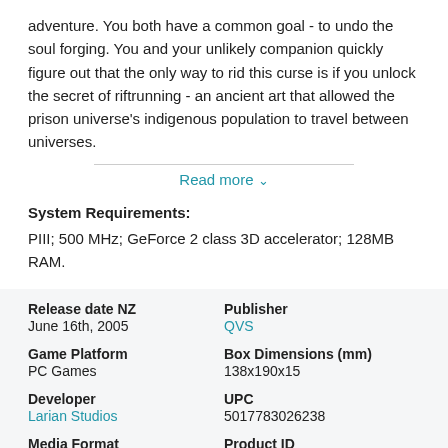adventure. You both have a common goal - to undo the soul forging. You and your unlikely companion quickly figure out that the only way to rid this curse is if you unlock the secret of riftrunning - an ancient art that allowed the prison universe's indigenous population to travel between universes.
Read more ∨
System Requirements:
PIII; 500 MHz; GeForce 2 class 3D accelerator; 128MB RAM.
| Release date NZ | Publisher |
| June 16th, 2005 | QVS |
| Game Platform | Box Dimensions (mm) |
| PC Games | 138x190x15 |
| Developer | UPC |
| Larian Studios | 5017783026238 |
| Media Format | Product ID |
| PC DVD-ROM | 1462220 |